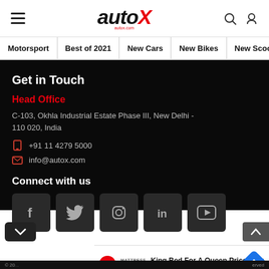autoX - Motorsport | Best of 2021 | New Cars | New Bikes | New Scoo
Get in Touch
Head Office
C-103, Okhla Industrial Estate Phase III, New Delhi - 110 020, India
+91 11 4279 5000
info@autox.com
Connect with us
[Figure (screenshot): Social media icons: Facebook, Twitter, Instagram, LinkedIn, YouTube]
[Figure (screenshot): Advertisement: King Bed For A Queen Price Now - Mattress Firm Potomac Run Plaza]